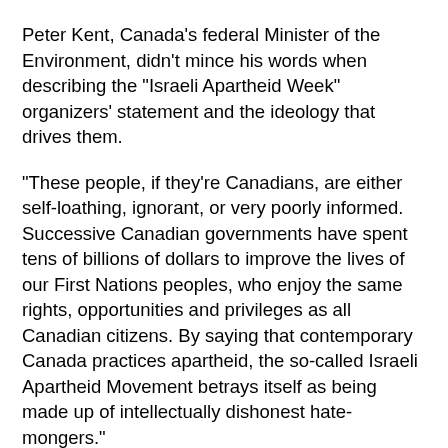Peter Kent, Canada's federal Minister of the Environment, didn't mince his words when describing the "Israeli Apartheid Week" organizers' statement and the ideology that drives them.
"These people, if they're Canadians, are either self-loathing, ignorant, or very poorly informed. Successive Canadian governments have spent tens of billions of dollars to improve the lives of our First Nations peoples, who enjoy the same rights, opportunities and privileges as all Canadian citizens. By saying that contemporary Canada practices apartheid, the so-called Israeli Apartheid Movement betrays itself as being made up of intellectually dishonest hate-mongers."
The Liberal Party's Critic for Democratic Renewal, St. Paul's MP Carolyn Bennett, offered the following: "Use of the word "apartheid" is inflammatory and inaccurate and works against any meaningful conversation on the peace process in the middle east or the plight of our aboriginal peoples here in Canada ." She also made reference to Liberal leader Michael Ignatieff's recent statement about 'Israeli Apartheid